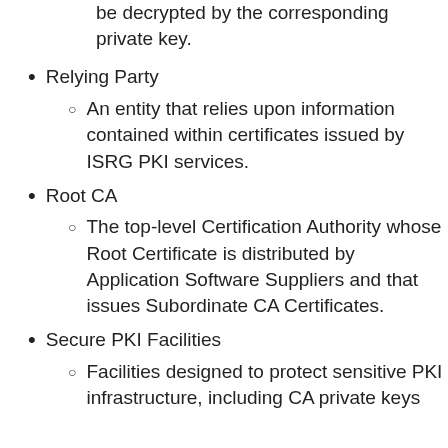be decrypted by the corresponding private key.
Relying Party
An entity that relies upon information contained within certificates issued by ISRG PKI services.
Root CA
The top-level Certification Authority whose Root Certificate is distributed by Application Software Suppliers and that issues Subordinate CA Certificates.
Secure PKI Facilities
Facilities designed to protect sensitive PKI infrastructure, including CA private keys